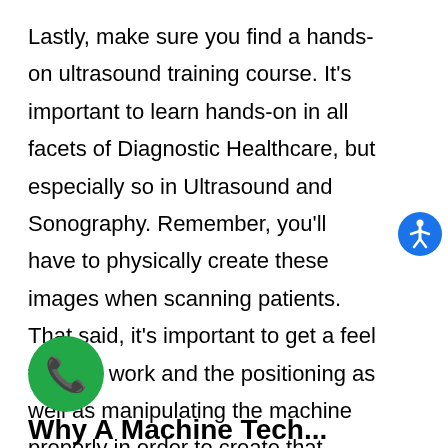Lastly, make sure you find a hands-on ultrasound training course. It's important to learn hands-on in all facets of Diagnostic Healthcare, but especially so in Ultrasound and Sonography. Remember, you'll have to physically create these images when scanning patients. That said, it's important to get a feel for your work and the positioning as well as manipulating the machine properly in order to create that image.
[Figure (other): Blue circular accessibility icon button with white person/wheelchair figure]
[Figure (other): Green circular phone/call button with white phone handset icon]
Why A Machine Technology...